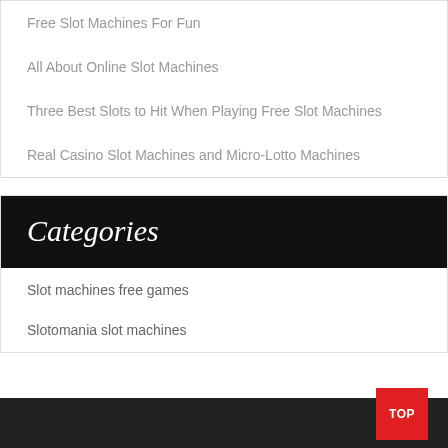Free Slot Machines For Fun
All About Online Slot Machines
Three Best Slots to Hit When Playing Free Slot Machines
Real Casino Slot Machines and Micro-Lotto Machines
Categories
Slot machines free games
Slotomania slot machines
TOP